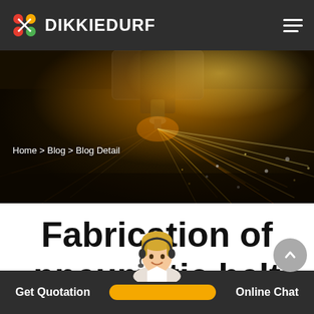DIKKIEDURF
[Figure (photo): Laser cutting machine in action with bright sparks flying, dark industrial background]
Home > Blog > Blog Detail
Fabrication of pneumatic belt conveyor
[Figure (photo): Customer service agent (woman with headset) chat widget]
Get Quotation | Online Chat